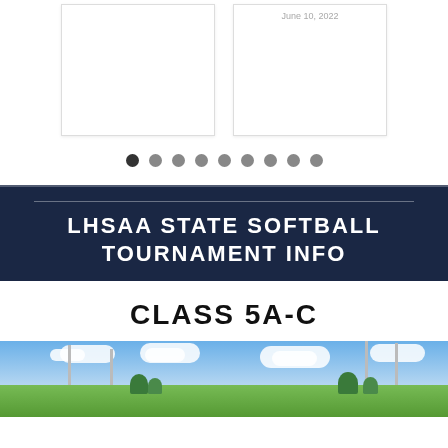[Figure (screenshot): Two card placeholders side by side; right card has a date text 'June 10, 2022' at top]
[Figure (other): Carousel navigation dots — 9 dots, first one dark/active]
LHSAA STATE SOFTBALL TOURNAMENT INFO
CLASS 5A-C
[Figure (photo): Outdoor softball field photo showing sky, clouds, light poles and trees]